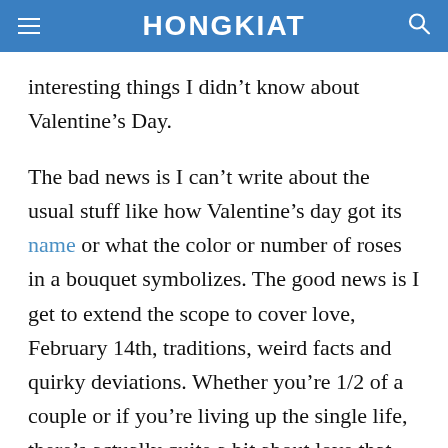HONGKIAT
interesting things I didn’t know about Valentine’s Day.
The bad news is I can’t write about the usual stuff like how Valentine’s day got its name or what the color or number of roses in a bouquet symbolizes. The good news is I get to extend the scope to cover love, February 14th, traditions, weird facts and quirky deviations. Whether you’re 1/2 of a couple or if you’re living up the single life, there’s actually quite a bit about love that most of us don’t know.
Here are 10 nuggets of info about the Day Of Love